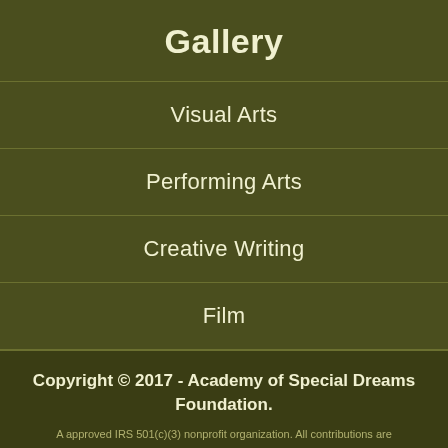Gallery
Visual Arts
Performing Arts
Creative Writing
Film
Copyright © 2017 - Academy of Special Dreams Foundation.